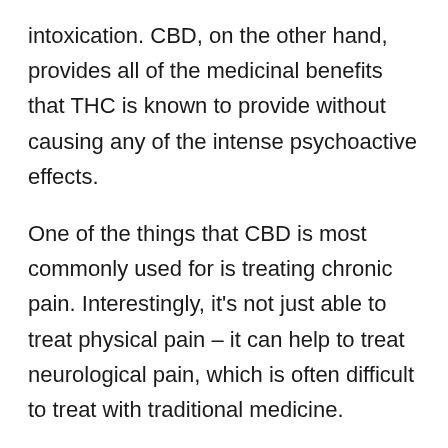intoxication. CBD, on the other hand, provides all of the medicinal benefits that THC is known to provide without causing any of the intense psychoactive effects.
One of the things that CBD is most commonly used for is treating chronic pain. Interestingly, it’s not just able to treat physical pain – it can help to treat neurological pain, which is often difficult to treat with traditional medicine.
Whatever the case, CBD will certainly help you manage your back pain. It can be found legally in many head shops and hemp shops, and in areas where medicinal marijuana is legal, it’s possible to